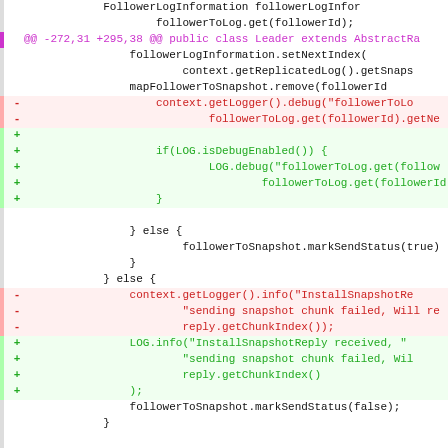[Figure (screenshot): Git diff code snippet showing Java source code changes in a Leader class. Shows additions and removals related to logging and snapshot handling logic, with standard diff markers (@@, +, -).]